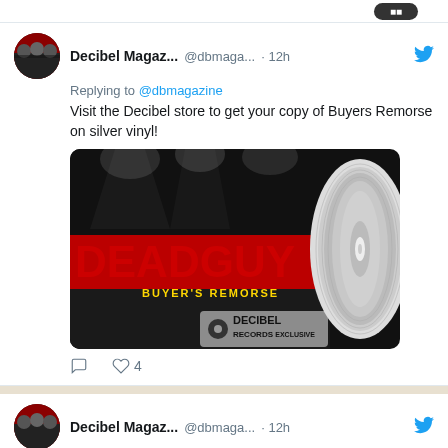[Figure (screenshot): Partial top of a Twitter/social media interface showing a dark rounded button]
Decibel Magaz... @dbmaga... · 12h
Replying to @dbmagazine
Visit the Decibel store to get your copy of Buyers Remorse on silver vinyl!
[Figure (photo): Album cover for Deadguy - Buyer's Remorse showing a black and white concert crowd photo with red DEADGUY text and yellow BUYER'S REMORSE subtitle, with a silver vinyl record visible on the right side, and Decibel Records Exclusive badge in the lower right]
♡ 4
Decibel Magaz... @dbmaga... · 12h
It's the moment you've been waiting for
Related Stories